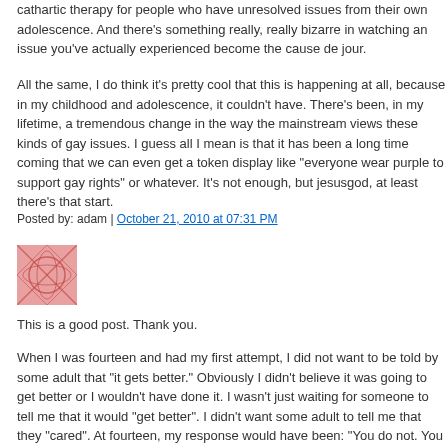cathartic therapy for people who have unresolved issues from their own adolescence. And there's something really, really bizarre in watching an issue you've actually experienced become the cause de jour.
All the same, I do think it's pretty cool that this is happening at all, because in my childhood and adolescence, it couldn't have. There's been, in my lifetime, a tremendous change in the way the mainstream views these kinds of gay issues. I guess all I mean is that it has been a long time coming that we can even get a token display like "everyone wear purple to support gay rights" or whatever. It's not enough, but jesusgod, at least there's that start.
Posted by: adam | October 21, 2010 at 07:31 PM
[Figure (photo): Small red/pink avatar image with abstract geometric pattern]
This is a good post. Thank you.
When I was fourteen and had my first attempt, I did not want to be told by some adult that "it gets better." Obviously I didn't believe it was going to get better or I wouldn't have done it. I wasn't just waiting for someone to tell me that it would "get better". I didn't want some adult to tell me that they "cared". At fourteen, my response would have been: "You do not. You don't care about me as a person, you care about me as a statistic. You don't even know me. You don't know what's going on with me, you don't know my circumstances. I'm not you. Fuck off."